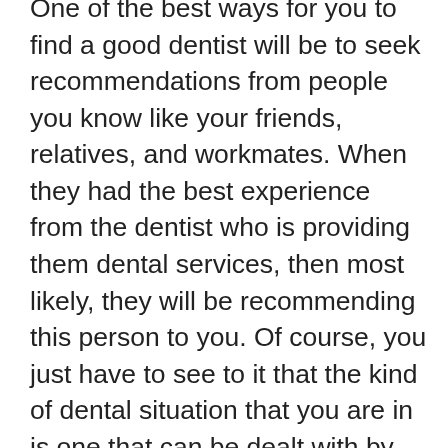One of the best ways for you to find a good dentist will be to seek recommendations from people you know like your friends, relatives, and workmates. When they had the best experience from the dentist who is providing them dental services, then most likely, they will be recommending this person to you. Of course, you just have to see to it that the kind of dental situation that you are in is one that can be dealt with by the dentist that you will be hiring. With the recommendations that you get, you have to list them now and compare each of them. You can use the internet to gather more information about the background of the dentists the people you know are recommending you. Now that you are on the internet, you should not disregard checking the profiles of the other dentists who are found in your area. The internet has made it very much possible for you to learn as much about the dentist you are planning to hire. With the internet, you can find out more about what